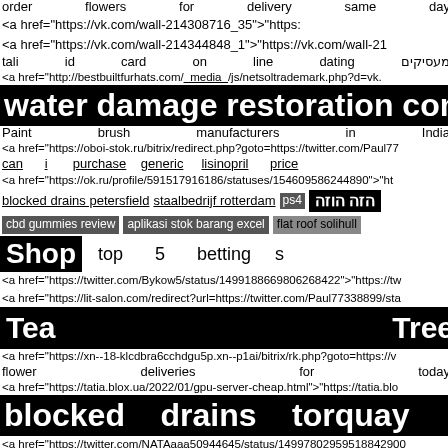order flowers for delivery same day
<a href="https://vk.com/wall-214308716_35">"https://...
<a href="https://vk.com/wall-214344848_1">"https://vk.com/wall-21...
tali id card on line dating מעסיקים
<a href="http://bestbuiltfurhats.com/ media /js/netsoltrademark.php?d=vk....
water damage restoration companies a
Paint brush manufacturers in India
<a href="https://oboi-stok.ru/bitrix/redirect.php?goto=https://twitter.com/Paul77...
can i purchase generic lisinopril price
<a href="https://ok.ru/profile/591517916186/statuses/154609586244890">"ht...
blocked drains petersfield  staalbedrijf rotterdam  ps4  הזה הוזה
cbd gummies review  aplikasi stok barang excel  flat roof solihull
Shop  top  5  betting  s
<a href="https://twitter.com/Bykow5/status/1499188669806268422">"https://tw...
<a href="https://lit-salon.com/redirect?url=https://twitter.com/Paul77338899/sta...
Tea  Tree
<a href="https://xn--18-klcdbra6cchdgu5p.xn--p1ai/bitrix/rk.php?goto=https://v...
flower deliveries for today
<a href="https://tatia.blox.ua/2022/01/gpu-server-cheap.html">"https://tatia.blo...
blocked drains torquay
<a href="https://twitter.com/NATAaaa50944645/status/14997802959518842900...
<a href="https://twitter.com/Karen43854115/status/1499711622413...
cctv drain survey tidworth
<a href="http://bluetooth.bi/ media /js/netsoltrademark.php?d=twitter.com%...
evitar alza de isapre
<a href="http://orraportal.ramcoams.net/LoginCheck.aspx?CheckOnly=tre&...